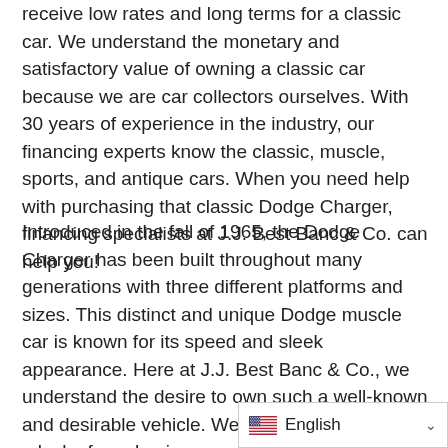receive low rates and long terms for a classic car. We understand the monetary and satisfactory value of owning a classic car because we are car collectors ourselves. With 30 years of experience in the industry, our financing experts know the classic, muscle, sports, and antique cars. When you need help with purchasing that classic Dodge Charger, financing specialists at J.J. Best Banc & Co. can help you!
Introduced in the fall of 1965, the Dodge Charger has been built throughout many generations with three different platforms and sizes. This distinct and unique Dodge muscle car is known for its speed and sleek appearance. Here at J.J. Best Banc & Co., we understand the desire to own such a well-known and desirable vehicle. We also understand that a lack of purchasing power is the number one inhibitor when our valued customers want to purchase their dream cars. That’s why we work hard to provide used Charger financing, as well as financing on thousands of other vehicles, that our customers can afford. S secured lending model, comb